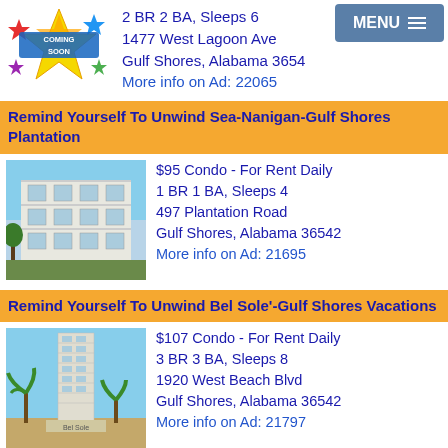[Figure (photo): Coming Soon badge/logo with colorful stars]
2 BR 2 BA, Sleeps 6
1477 West Lagoon Ave
Gulf Shores, Alabama 3654
More info on Ad: 22065
Remind Yourself To Unwind Sea-Nanigan-Gulf Shores Plantation
[Figure (photo): Exterior photo of a multi-story condo building with balconies]
$95 Condo - For Rent Daily
1 BR 1 BA, Sleeps 4
497 Plantation Road
Gulf Shores, Alabama 36542
More info on Ad: 21695
Remind Yourself To Unwind Bel Sole'-Gulf Shores Vacations
[Figure (photo): Exterior photo of a tall high-rise condo tower with palm trees]
$107 Condo - For Rent Daily
3 BR 3 BA, Sleeps 8
1920 West Beach Blvd
Gulf Shores, Alabama 36542
More info on Ad: 21797
Remind Yourself To Unwind Jubilee Landing-Orange Beach Vacations
$115 Condo - For Rent Daily
2 BR 2 BA, Sleeps 6
29101 Perdido Beach Blvd